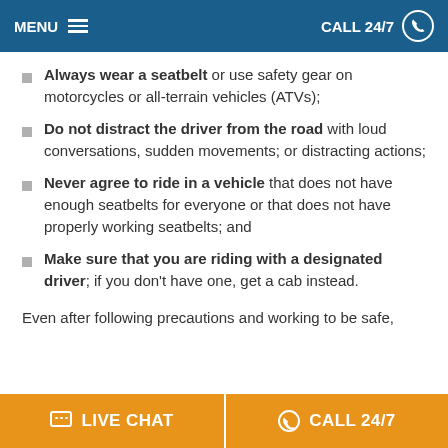MENU   CALL 24/7
Always wear a seatbelt or use safety gear on motorcycles or all-terrain vehicles (ATVs);
Do not distract the driver from the road with loud conversations, sudden movements; or distracting actions;
Never agree to ride in a vehicle that does not have enough seatbelts for everyone or that does not have properly working seatbelts; and
Make sure that you are riding with a designated driver; if you don't have one, get a cab instead.
Even after following precautions and working to be safe,
LIVE CHAT   CALL 24/7